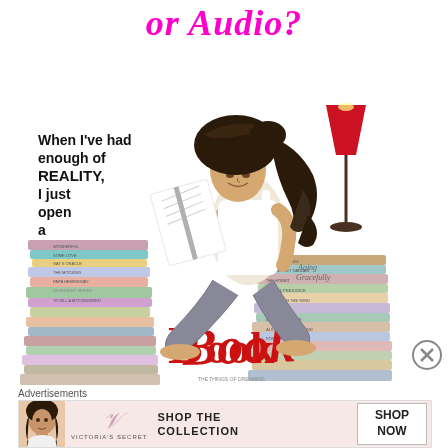or Audio?
[Figure (illustration): Illustration of a woman with dark curly hair sitting cross-legged on a large pile of books, reading a book. Text on the illustration reads: 'When I've had enough of REALITY, I just open a BOOK'. A red teacup with steam and a red lamp are also shown. Books are stacked around her with various titles. The word 'Book' is written in large red decorative letters at the bottom. Watermark: 'Aging Gracefully'.]
[Figure (other): Circle X / close button icon]
Advertisements
[Figure (other): Victoria's Secret advertisement banner. Shows a woman's photo on the left, Victoria's Secret logo in the center, text 'SHOP THE COLLECTION' in the middle, and a 'SHOP NOW' button on the right.]